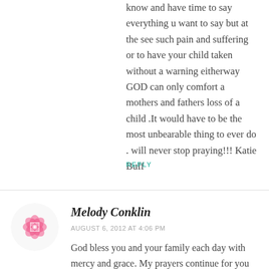know and have time to say everything u want to say but at the see such pain and suffering or to have your child taken without a warning eitherway GOD can only comfort a mothers and fathers loss of a child .It would have to be the most unbearable thing to ever do . will never stop praying!!! Katie Buff
REPLY
Melody Conklin
AUGUST 6, 2012 AT 4:06 PM
God bless you and your family each day with mercy and grace. My prayers continue for you